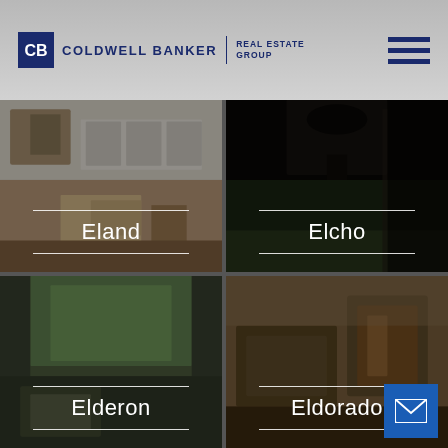Coldwell Banker Real Estate Group
[Figure (photo): Interior room photo - Eland property listing]
Eland
[Figure (photo): Dark interior/exterior photo - Elcho property listing]
Elcho
[Figure (photo): Interior room with greenery view - Elderon property listing]
Elderon
[Figure (photo): Living room interior with chairs - Eldorado property listing]
Eldorado